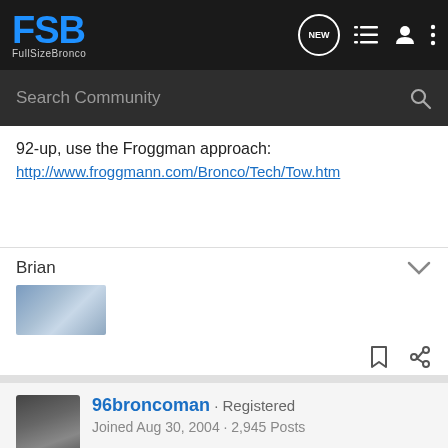FSB FullSizeBronco
92-up, use the Froggman approach:
http://www.froggmann.com/Bronco/Tech/Tow.htm
Brian
[Figure (photo): Brian's avatar thumbnail showing a vehicle]
96broncoman · Registered
Joined Aug 30, 2004 · 2,945 Posts
#12 · Ja...
[Figure (photo): Advertisement for The New 2022 Silverado by Chevrolet with Explore button]